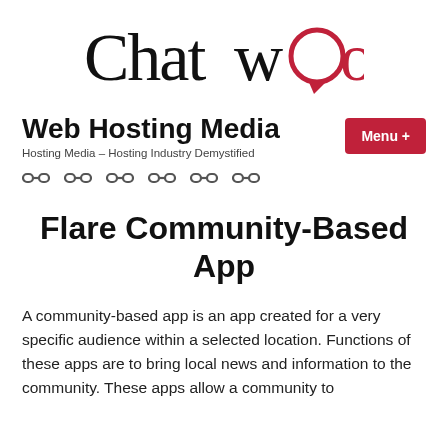[Figure (logo): ChatWoo logo - text logo with stylized 'w' and speech bubble 'o' in red]
Web Hosting Media
Hosting Media – Hosting Industry Demystified
[Figure (other): Six chain/link icons in a row for navigation]
Flare Community-Based App
A community-based app is an app created for a very specific audience within a selected location. Functions of these apps are to bring local news and information to the community. These apps allow a community to